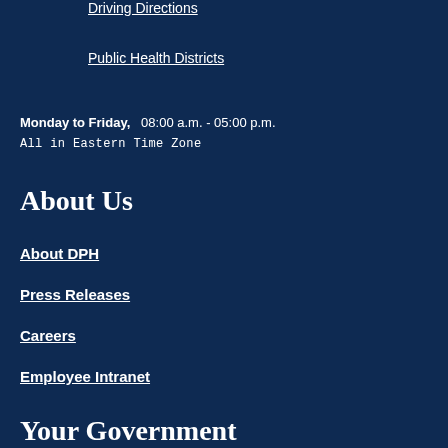Driving Directions
Public Health Districts
Monday to Friday,   08:00 a.m. - 05:00 p.m.
All in Eastern Time Zone
About Us
About DPH
Press Releases
Careers
Employee Intranet
Your Government